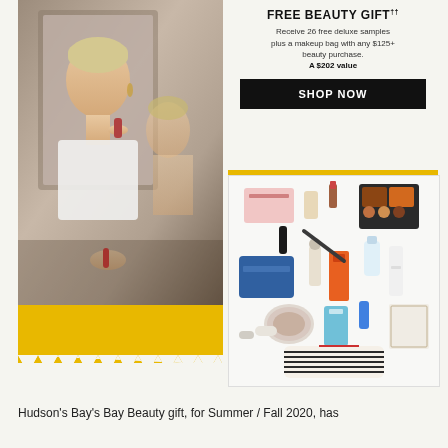[Figure (photo): Advertisement image showing a woman applying makeup in a mirror reflection (left panel), a yellow stripe with zigzag border, and a flat-lay photo of 26 beauty product samples with a striped makeup bag (right panel).]
FREE BEAUTY GIFT††
Receive 26 free deluxe samples plus a makeup bag with any $125+ beauty purchase. A $202 value
SHOP NOW
Hudson's Bay's Bay Beauty gift, for Summer / Fall 2020, has